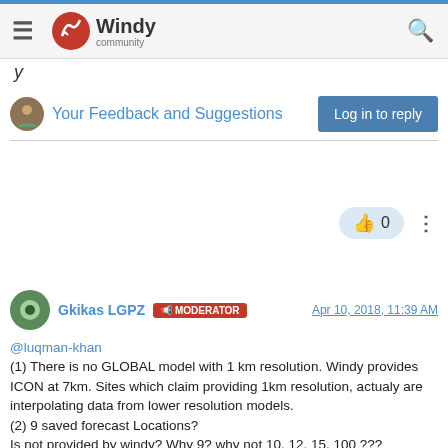Windy community
Your Feedback and Suggestions
Log in to reply
Gkikas LGPZ  MODERATOR   Apr 10, 2018, 11:39 AM
@luqman-khan
(1) There is no GLOBAL model with 1 km resolution. Windy provides ICON at 7km. Sites which claim providing 1km resolution, actualy are interpolating data from lower resolution models.
(2) 9 saved forecast Locations?
Is not provided by windy? Why 9? why not 10, 12, 15, 100 ???
(3) Isobar Maps: are already provided by windy !
(4) Wind observations: are already provided by windy !
(5) Forecast Alerts accurate: are already provided by windy !
(6) 25km global resolution "GFS" : is already provided by windy !
(7) ...